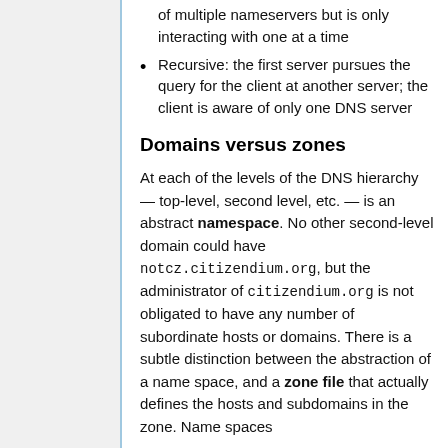of multiple nameservers but is only interacting with one at a time
Recursive: the first server pursues the query for the client at another server; the client is aware of only one DNS server
Domains versus zones
At each of the levels of the DNS hierarchy — top-level, second level, etc. — is an abstract namespace. No other second-level domain could have notcz.citizendium.org, but the administrator of citizendium.org is not obligated to have any number of subordinate hosts or domains. There is a subtle distinction between the abstraction of a name space, and a zone file that actually defines the hosts and subdomains in the zone. Name spaces